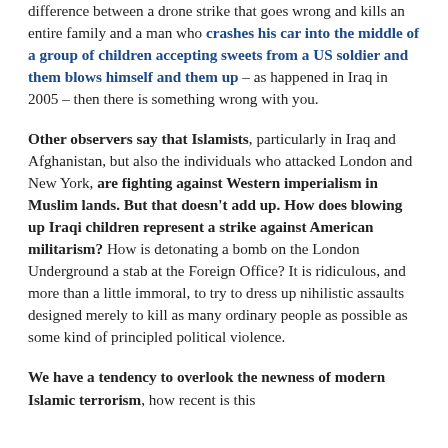difference between a drone strike that goes wrong and kills an entire family and a man who crashes his car into the middle of a group of children accepting sweets from a US soldier and them blows himself and them up – as happened in Iraq in 2005 – then there is something wrong with you.
Other observers say that Islamists, particularly in Iraq and Afghanistan, but also the individuals who attacked London and New York, are fighting against Western imperialism in Muslim lands. But that doesn't add up. How does blowing up Iraqi children represent a strike against American militarism? How is detonating a bomb on the London Underground a stab at the Foreign Office? It is ridiculous, and more than a little immoral, to try to dress up nihilistic assaults designed merely to kill as many ordinary people as possible as some kind of principled political violence.
We have a tendency to overlook the newness of modern Islamic terrorism, how recent is this